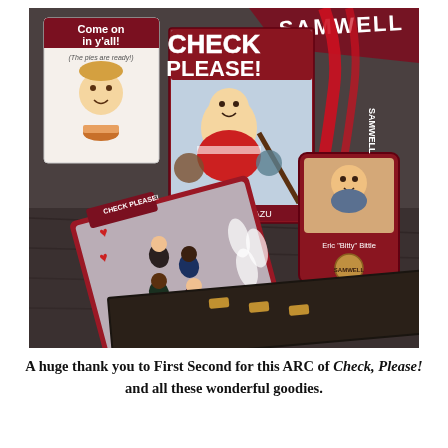[Figure (photo): A photograph of Check Please! graphic novel merchandise laid out on a dark wooden surface. Items include the Check Please! book/ARC with a hockey player character on the cover by Ngozi Ukazu, a sticker sheet with character stickers, a promotional card reading 'Come on in y'all! (The pies are ready!)' with character emoji, and a lanyard badge reading 'Eric Bitty Bittle' with a Samwell branding.]
A huge thank you to First Second for this ARC of Check, Please! and all these wonderful goodies.